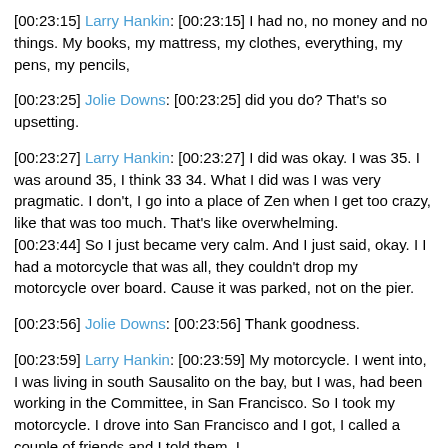[00:23:15] Larry Hankin: [00:23:15] I had no, no money and no things. My books, my mattress, my clothes, everything, my pens, my pencils,
[00:23:25] Jolie Downs: [00:23:25] did you do? That's so upsetting.
[00:23:27] Larry Hankin: [00:23:27] I did was okay. I was 35. I was around 35, I think 33 34. What I did was I was very pragmatic. I don't, I go into a place of Zen when I get too crazy, like that was too much. That's like overwhelming.
[00:23:44] So I just became very calm. And I just said, okay. I I had a motorcycle that was all, they couldn't drop my motorcycle over board. Cause it was parked, not on the pier.
[00:23:56] Jolie Downs: [00:23:56] Thank goodness.
[00:23:59] Larry Hankin: [00:23:59] My motorcycle. I went into, I was living in south Sausalito on the bay, but I was, had been working in the Committee, in San Francisco. So I took my motorcycle. I drove into San Francisco and I got, I called a couple of friends and I told them, I